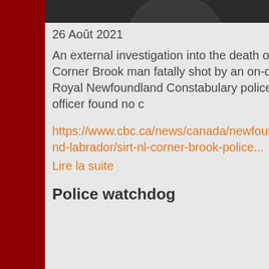[Figure (photo): Partial view of a person's head/neck area, dark background]
26 Août 2021
An external investigation into the death of a Corner Brook man fatally shot by an on-duty Royal Newfoundland Constabulary police officer found no c
https://www.cbc.ca/news/canada/newfoundland-labrador/sirt-nl-corner-brook-police... Lire la suite
Police watchdog